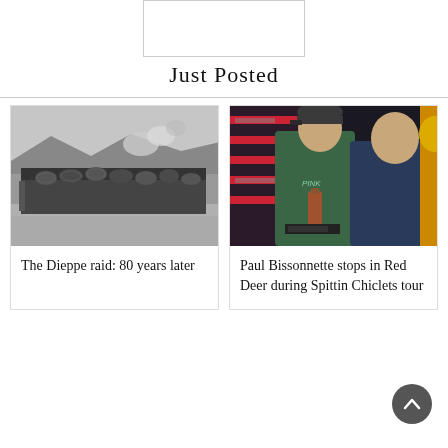[Figure (other): Advertisement placeholder box, empty white rectangle with border]
Just Posted
[Figure (photo): Black and white WWII photo of soldiers in helmets on a landing craft approaching a beach with smoke in the background]
The Dieppe raid: 80 years later
[Figure (photo): Color photo of Paul Bissonnette in a green sweater holding a bottle, standing next to another man in a store]
Paul Bissonnette stops in Red Deer during Spittin Chiclets tour